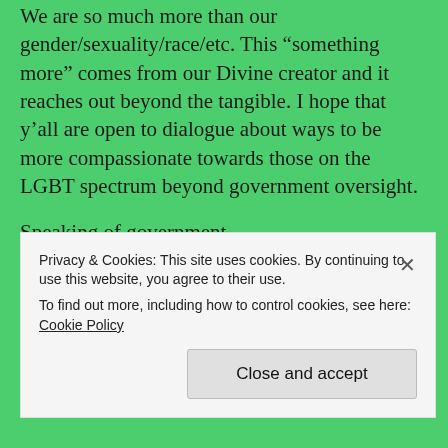We are so much more than our gender/sexuality/race/etc. This “something more” comes from our Divine creator and it reaches out beyond the tangible. I hope that y’all are open to dialogue about ways to be more compassionate towards those on the LGBT spectrum beyond government oversight.
Speaking of government...
[Figure (photo): Broken image placeholder showing alt text: american-flag-on-white-fence]
There are days that I love my country. And there are
Privacy & Cookies: This site uses cookies. By continuing to use this website, you agree to their use.
To find out more, including how to control cookies, see here: Cookie Policy